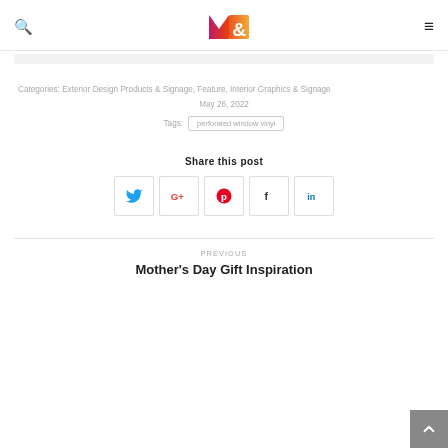N& logo with search and menu icons
Categories: Exterior Design Products & Signage, Feature, Interior Graphics & Signage
May 26, 2022
Tags: perforated window vinyl
Share this post
[Figure (infographic): Social share buttons: Twitter, Google+, Pinterest, Facebook, LinkedIn]
PREVIOUS
Mother's Day Gift Inspiration